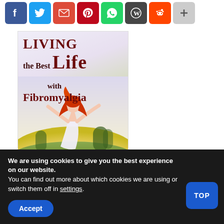[Figure (other): Social sharing icons bar: Facebook (blue), Twitter (blue), Email/Gmail (red), Pinterest (red), WhatsApp (green), WordPress (dark grey), Reddit (orange), Share/Plus (grey)]
[Figure (illustration): Book cover: 'LIVING the Best Life with Fibromyalgia' — dark red serif title text on a light background, with an image of a woman with red hair in a white dress, arms outstretched, standing in a sunny field with green trees in background.]
We are using cookies to give you the best experience on our website.
You can find out more about which cookies we are using or switch them off in settings.